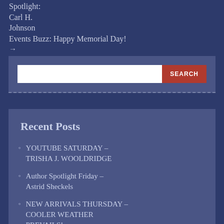Spotlight: Carl H. Johnson Events Buzz: Happy Memorial Day! →
[Figure (screenshot): Search bar with white input field and red SEARCH button on a dark blue-gray background]
Recent Posts
YOUTUBE SATURDAY – TRISHA J. WOOLDRIDGE
Author Spotlight Friday – Astrid Sheckels
NEW ARRIVALS THURSDAY – COOLER WEATHER PREVAILS!